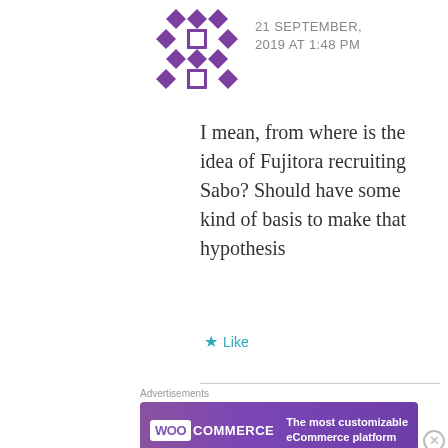[Figure (logo): Purple geometric diamond pattern avatar/logo icon]
21 SEPTEMBER, 2019 AT 1:48 PM
I mean, from where is the idea of Fujitora recruiting Sabo? Should have some kind of basis to make that hypothesis
★ Like
Advertisements
[Figure (infographic): WooCommerce advertisement banner: purple gradient background with WooCommerce logo on left and text 'The most customizable eCommerce platform' on right]
Advertisements
[Figure (infographic): Victoria's Secret advertisement: pink background with model photo on left, Victoria's Secret logo in center, 'SHOP THE COLLECTION' text and 'SHOP NOW' button on right]